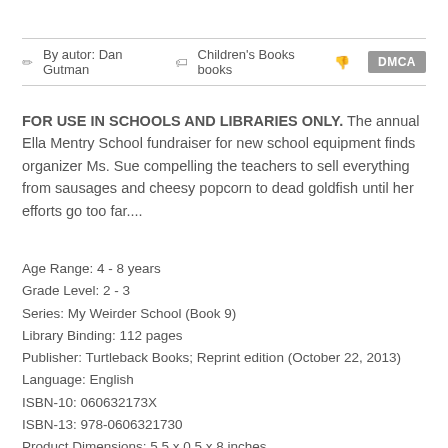By autor: Dan Gutman   Children's Books books   DMCA
FOR USE IN SCHOOLS AND LIBRARIES ONLY. The annual Ella Mentry School fundraiser for new school equipment finds organizer Ms. Sue compelling the teachers to sell everything from sausages and cheesy popcorn to dead goldfish until her efforts go too far....
Age Range: 4 - 8 years
Grade Level: 2 - 3
Series: My Weirder School (Book 9)
Library Binding: 112 pages
Publisher: Turtleback Books; Reprint edition (October 22, 2013)
Language: English
ISBN-10: 060632173X
ISBN-13: 978-0606321730
Product Dimensions: 5.5 x 0.5 x 8 inches
Amazon Rank: 5313003
Format: PDF ePub Text TXT fb2 book